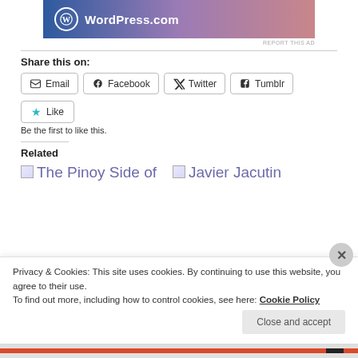[Figure (logo): WordPress.com banner advertisement with gradient blue to pink background and WordPress logo]
REPORT THIS AD
Share this on:
Email  Facebook  Twitter  Tumblr
[Figure (other): Like button with star icon]
Be the first to like this.
Related
The Pinoy Side of
Javier Jacutin
Privacy & Cookies: This site uses cookies. By continuing to use this website, you agree to their use.
To find out more, including how to control cookies, see here: Cookie Policy
Close and accept